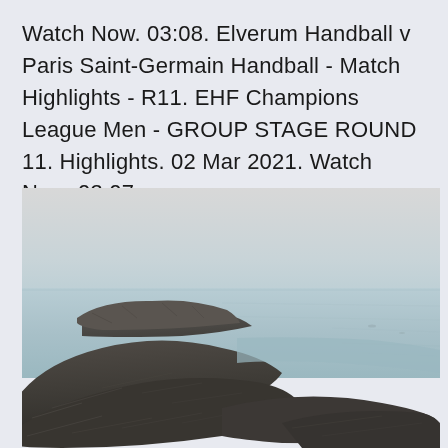Watch Now. 03:08. Elverum Handball v Paris Saint-Germain Handball - Match Highlights - R11. EHF Champions League Men - GROUP STAGE ROUND 11. Highlights. 02 Mar 2021. Watch Now. 03:07.
[Figure (photo): Coastal rocky shoreline with jagged dark rocks in the foreground and calm pale blue-grey sea water extending to a hazy horizon under an overcast light grey sky.]